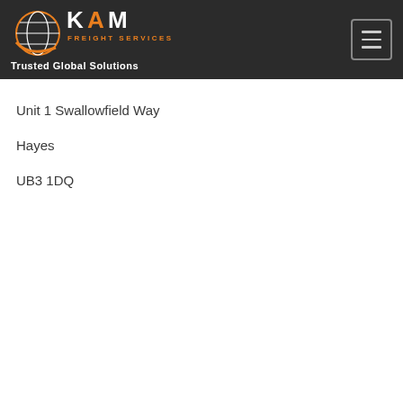[Figure (logo): KAM Freight Services logo with globe icon and tagline 'Trusted Global Solutions' on dark background header]
Unit 1 Swallowfield Way
Hayes
UB3 1DQ